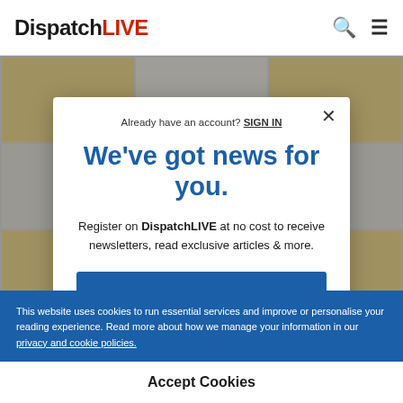DispatchLIVE
[Figure (screenshot): Background content showing a grid of article thumbnails on the DispatchLIVE website, partially visible behind the modal overlay.]
Already have an account? SIGN IN
We've got news for you.
Register on DispatchLIVE at no cost to receive newsletters, read exclusive articles & more.
This website uses cookies to run essential services and improve or personalise your reading experience. Read more about how we manage your information in our privacy and cookie policies.
Accept Cookies